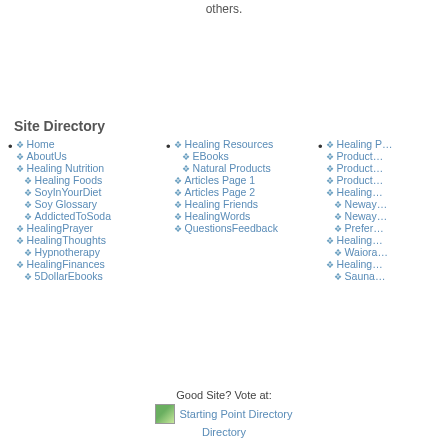others.
Site Directory
Home
AboutUs
Healing Nutrition
Healing Foods
SoyInYourDiet
Soy Glossary
AddictedToSoda
HealingPrayer
HealingThoughts
Hypnotherapy
HealingFinances
5DollarEbooks
Healing Resources
EBooks
Natural Products
Articles Page 1
Articles Page 2
Healing Friends
HealingWords
QuestionsFeedback
Healing P...
Product...
Product...
Product...
Healing...
Neway...
Neway...
Prefer...
Healing...
Waiora...
Healing...
Sauna...
Good Site? Vote at:
[Figure (logo): Starting Point Directory logo image with green icon]
Directory